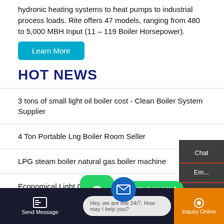hydronic heating systems to heat pumps to industrial process loads. Rite offers 47 models, ranging from 480 to 5,000 MBH Input (11 – 119 Boiler Horsepower).
Learn More
HOT NEWS
3 tons of small light oil boiler cost - Clean Boiler System Supplier
4 Ton Portable Lng Boiler Room Seller
LPG steam boiler natural gas boiler machine
Economical Light Oil Hot Water Boiler
Chat
Em...
Contact
Contact us now!
Hey, we are live 24/7. How may I help you?
Send Message
Inquiry Online